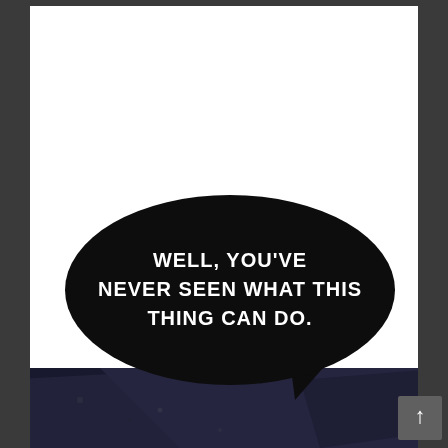[Figure (illustration): Manga/webtoon page panel. Top portion is a large white panel (showing a character, mostly white/blank space). Bottom portion shows a dark scene with a figure in dark clothing. A large black speech bubble ellipse overlaps both panels containing the text: WELL, YOU'VE NEVER SEEN WHAT THIS THING CAN DO.]
WELL, YOU'VE NEVER SEEN WHAT THIS THING CAN DO.